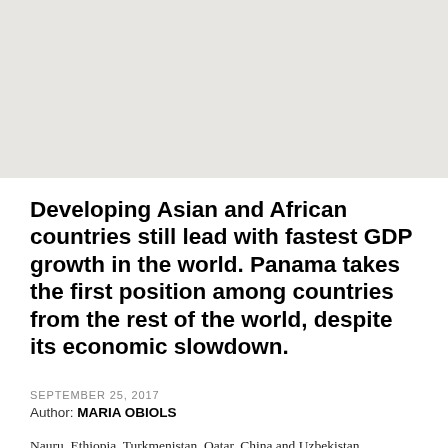[Figure (other): Large light gray placeholder/image block at the top of the page]
Developing Asian and African countries still lead with fastest GDP growth in the world. Panama takes the first position among countries from the rest of the world, despite its economic slowdown.
SEPTEMBER 25, 2017
Author: MARIA OBIOLS
Nauru, Ethiopia, Turkmenistan, Qatar, China and Uzbekistan